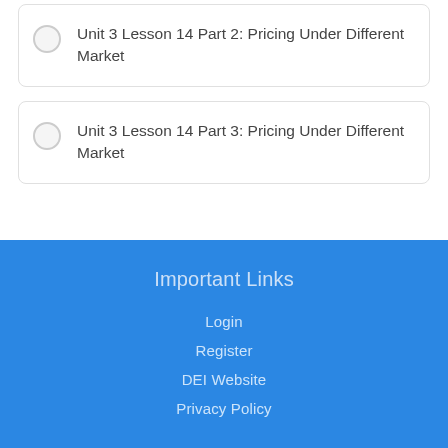Unit 3 Lesson 14 Part 2: Pricing Under Different Market
Unit 3 Lesson 14 Part 3: Pricing Under Different Market
Important Links
Login
Register
DEI Website
Privacy Policy